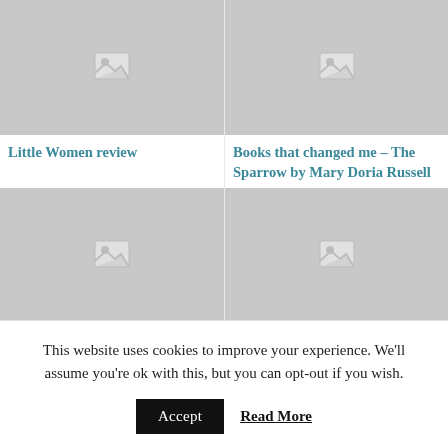[Figure (photo): Placeholder image for Little Women review article]
Little Women review
[Figure (photo): Placeholder image for Books that changed me article]
Books that changed me – The Sparrow by Mary Doria Russell
[Figure (photo): Placeholder image for Review: Bill Bryson At Home]
Review: Bill Bryson At Home
[Figure (photo): Placeholder image for Review: The Cousin's War series]
Review: The Cousin's War series
This website uses cookies to improve your experience. We'll assume you're ok with this, but you can opt-out if you wish.